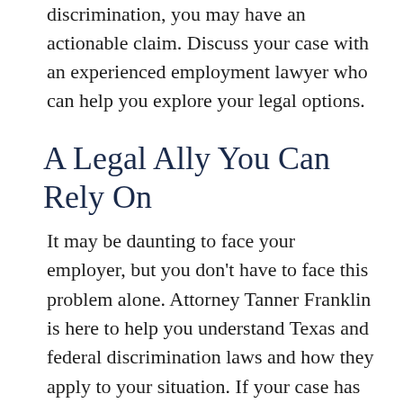discrimination, you may have an actionable claim. Discuss your case with an experienced employment lawyer who can help you explore your legal options.
A Legal Ally You Can Rely On
It may be daunting to face your employer, but you don't have to face this problem alone. Attorney Tanner Franklin is here to help you understand Texas and federal discrimination laws and how they apply to your situation. If your case has merit, he will provide you with the strong representation you need to achieve a successful result.